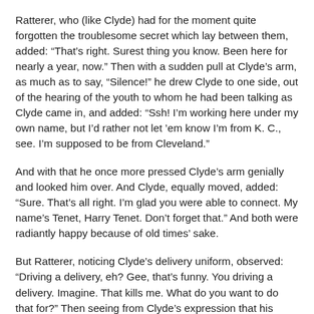Ratterer, who (like Clyde) had for the moment quite forgotten the troublesome secret which lay between them, added: “That’s right. Surest thing you know. Been here for nearly a year, now.” Then with a sudden pull at Clyde’s arm, as much as to say, “Silence!” he drew Clyde to one side, out of the hearing of the youth to whom he had been talking as Clyde came in, and added: “Ssh! I’m working here under my own name, but I’d rather not let ’em know I’m from K. C., see. I’m supposed to be from Cleveland.”
And with that he once more pressed Clyde’s arm genially and looked him over. And Clyde, equally moved, added: “Sure. That’s all right. I’m glad you were able to connect. My name’s Tenet, Harry Tenet. Don’t forget that.” And both were radiantly happy because of old times’ sake.
But Ratterer, noticing Clyde’s delivery uniform, observed: “Driving a delivery, eh? Gee, that’s funny. You driving a delivery. Imagine. That kills me. What do you want to do that for?” Then seeing from Clyde’s expression that his reference to his present position might not be the most pleasing thing in the world since Clyde stared and coughed: “Well, I don’t